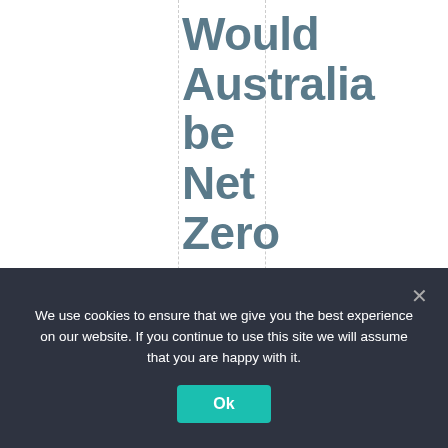Would Australia be Net Zero now if China wasn't offering
We use cookies to ensure that we give you the best experience on our website. If you continue to use this site we will assume that you are happy with it.